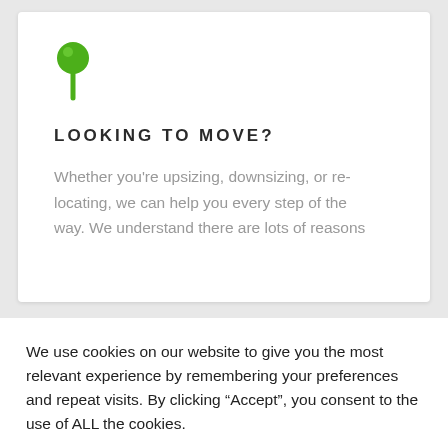[Figure (logo): Green map pin / location marker icon]
LOOKING TO MOVE?
Whether you’re upsizing, downsizing, or relocating, we can help you every step of the way. We understand there are lots of reasons
We use cookies on our website to give you the most relevant experience by remembering your preferences and repeat visits. By clicking “Accept”, you consent to the use of ALL the cookies.
Cookie settings
ACCEPT